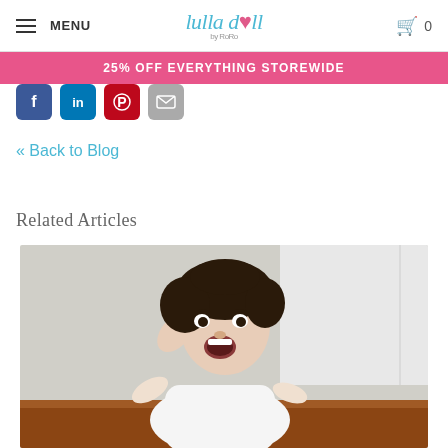MENU | Lulla Doll by RoRo | Cart 0
25% OFF EVERYTHING STOREWIDE
[Figure (other): Social sharing icons row: Facebook (blue), LinkedIn (blue), Pinterest (red), Email (grey)]
« Back to Blog
Related Articles
[Figure (photo): Young toddler child with curly dark hair wearing a white long-sleeve shirt, mouth open yawning/crying, one hand raised to forehead, standing in front of a white wall and wooden furniture]